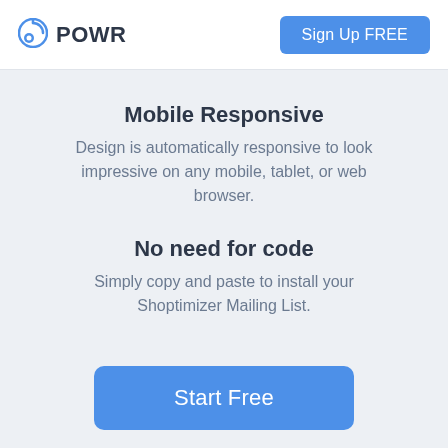POWR | Sign Up FREE
Mobile Responsive
Design is automatically responsive to look impressive on any mobile, tablet, or web browser.
No need for code
Simply copy and paste to install your Shoptimizer Mailing List.
Start Free